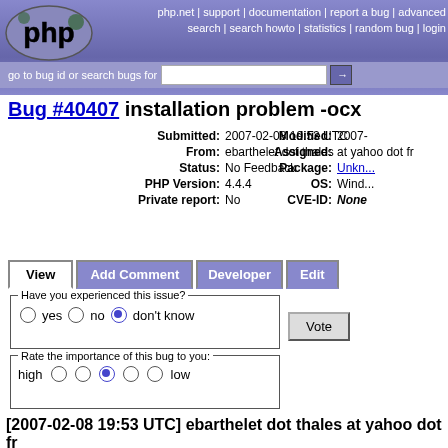php.net | support | documentation | report a bug | advanced search | search howto | statistics | random bug | login
go to bug id or search bugs for
Bug #40407 installation problem -ocx
| Field | Value |
| --- | --- |
| Submitted: | 2007-02-08 19:53 UTC | Modified: | 2007-... |
| From: | ebarthelet dot thales at yahoo dot fr | Assigned: |  |
| Status: | No Feedback | Package: | Unkn... |
| PHP Version: | 4.4.4 | OS: | Wind... |
| Private report: | No | CVE-ID: | None |
Have you experienced this issue? yes no don't know
Rate the importance of this bug to you: high low
[2007-02-08 19:53 UTC] ebarthelet dot thales at yahoo dot fr
Description:
----------